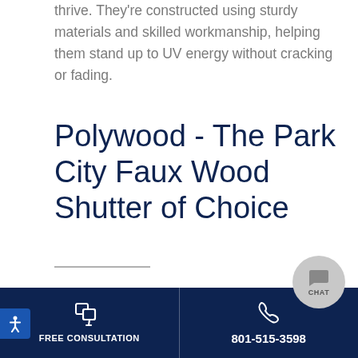thrive. They're constructed using sturdy materials and skilled workmanship, helping them stand up to UV energy without cracking or fading.
Polywood - The Park City Faux Wood Shutter of Choice
If you're looking for a high-quality faux wood shutter in Park City, you've found it in Polywood® plantation shutters. Polywood Shutters outshine
FREE CONSULTATION | 801-515-3598 | CHAT